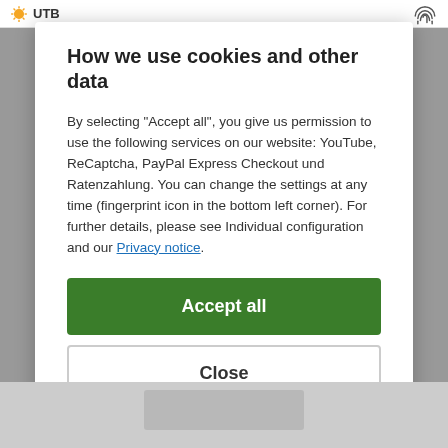[Figure (screenshot): Top navigation bar with UTB logo (sun icon) on left and fingerprint icon on right]
How we use cookies and other data
By selecting "Accept all", you give us permission to use the following services on our website: YouTube, ReCaptcha, PayPal Express Checkout und Ratenzahlung. You can change the settings at any time (fingerprint icon in the bottom left corner). For further details, please see Individual configuration and our Privacy notice.
Accept all
Close
Configuration